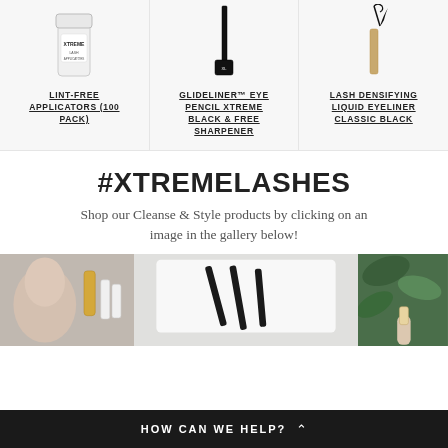[Figure (photo): Xtreme Lashes Lint-Free Applicators product container (white cylindrical jar with logo)]
LINT-FREE APPLICATORS (100 PACK)
[Figure (photo): Glideliner eye pencil with cap off and small sharpener box below]
GLIDELINER™ EYE PENCIL XTREME BLACK & FREE SHARPENER
[Figure (photo): Lash Densifying Liquid Eyeliner product with brush drawn out in classic black]
LASH DENSIFYING LIQUID EYELINER CLASSIC BLACK
#XTREMELASHES
Shop our Cleanse & Style products by clicking on an image in the gallery below!
[Figure (photo): Gallery image 1: Woman's face with skincare product bottles]
[Figure (photo): Gallery image 2: Black makeup brushes on white surface]
[Figure (photo): Gallery image 3: Green leaves with hand holding product]
HOW CAN WE HELP?